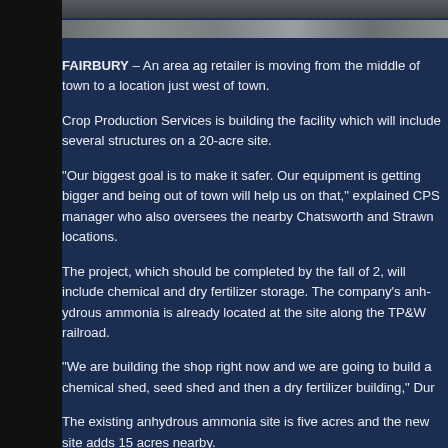[Figure (photo): Top partial image strip showing an outdoor scene, appears to be a grainy aerial or landscape photograph]
FAIRBURY – An area ag retailer is moving from the middle of town to a location just west of town.
Crop Production Services is building the facility which will include several structures on a 20-acre site.
“Our biggest goal is to make it safer. Our equipment is getting bigger and being out of town will help us on that,” explained CPS manager who also oversees the nearby Chatsworth and Strawn locations.
The project, which should be completed by the fall of 2___, will include chemical and dry fertilizer storage. The company’s anhydrous ammonia is already located at the site along the TP&W railroad.
“We are building the shop right now and we are going to build a chemical shed, seed shed and then a dry fertilizer building,” Du_
The existing anhydrous ammonia site is five acres and the new site adds 15 acres nearby.